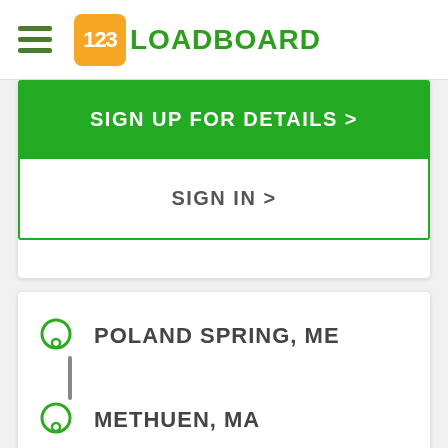[Figure (logo): 123Loadboard logo with orange rounded square containing '123' and green text 'LOADBOARD']
SIGN UP FOR DETAILS >
SIGN IN >
POLAND SPRING, ME
METHUEN, MA